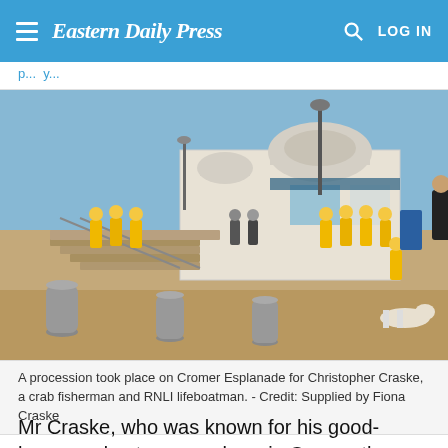Eastern Daily Press — LOG IN
p...y...
[Figure (photo): A procession on Cromer Esplanade showing people in yellow RNLI lifeboat crew uniforms outside a seafront building with a domed roof. Bollards and steps visible in foreground, a dog at right, clear blue sky.]
A procession took place on Cromer Esplanade for Christopher Craske, a crab fisherman and RNLI lifeboatman. - Credit: Supplied by Fiona Craske
Mr Craske, who was known for his good-humoured nature, was born in Cromer the youngest of five